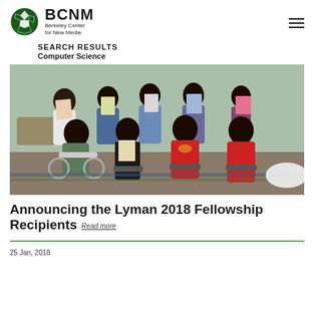BCNM Berkeley Center for New Media
SEARCH RESULTS
Computer Science
[Figure (photo): Group photo of nine young women in an office/lab space, holding up artwork or papers. Some are seated, some standing in the background.]
Announcing the Lyman 2018 Fellowship Recipients Read more
25 Jan, 2018